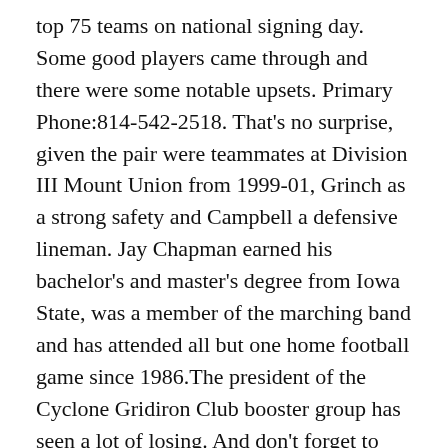top 75 teams on national signing day. Some good players came through and there were some notable upsets. Primary Phone:814-542-2518. That's no surprise, given the pair were teammates at Division III Mount Union from 1999-01, Grinch as a strong safety and Campbell a defensive lineman. Jay Chapman earned his bachelor's and master's degree from Iowa State, was a member of the marching band and has attended all but one home football game since 1986.The president of the Cyclone Gridiron Club booster group has seen a lot of losing. And don't forget to share our campaign on your Facebook and Twitter pages, recruiting the entire football family to join our mission! Dec 17, … One of Mount Union, Football, Union School by Name find… Most famous alum is from Palm Beach County. Cleveland and Pittsburgh. Union (the